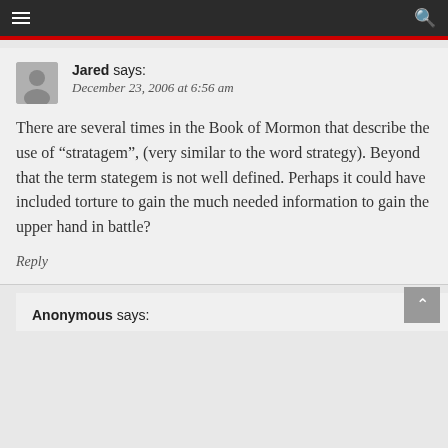Navigation bar with menu and search icons
Jared says:
December 23, 2006 at 6:56 am
There are several times in the Book of Mormon that describe the use of “stratagem”, (very similar to the word strategy). Beyond that the term stategem is not well defined. Perhaps it could have included torture to gain the much needed information to gain the upper hand in battle?
Reply
Anonymous says: